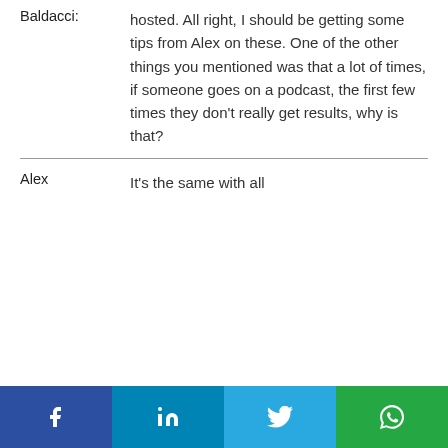Baldacci: hosted. All right, I should be getting some tips from Alex on these. One of the other things you mentioned was that a lot of times, if someone goes on a podcast, the first few times they don't really get results, why is that?
Alex  It's the same with all
[Figure (infographic): Social sharing bar with four buttons: Facebook (dark blue), LinkedIn (blue), Twitter (light blue), WhatsApp (green), each with white icon]